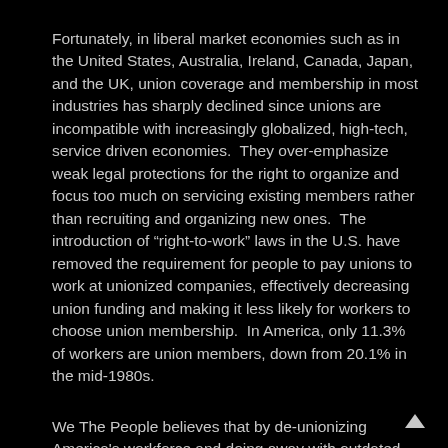Fortunately, in liberal market economies such as in the United States, Australia, Ireland, Canada, Japan, and the UK, union coverage and membership in most industries has sharply declined since unions are incompatible with increasingly globalized, high-tech, service driven economies.  They over-emphasize weak legal protections for the right to organize and focus too much on servicing existing members rather than recruiting and organizing new ones.  The introduction of “right-to-work” laws in the U.S. have removed the requirement for people to pay unions to work at unionized companies, effectively decreasing union funding and making it less likely for workers to choose union membership.  In America, only 11.3% of workers are union members, down from 20.1% in the mid-1980s.
We The People believes that by de-unionizing America's workforce and doing away with outdated labor practices, private companies can become more competitive in today's world